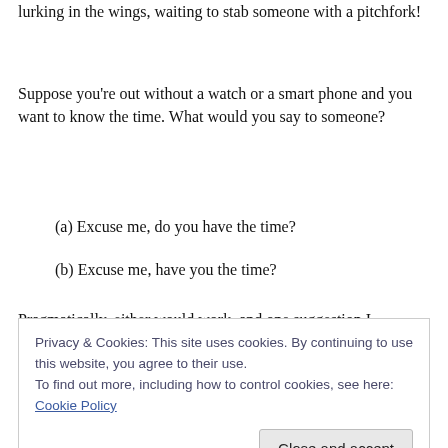lurking in the wings, waiting to stab someone with a pitchfork!
Suppose you're out without a watch or a smart phone and you want to know the time. What would you say to someone?
(a) Excuse me, do you have the time?
(b) Excuse me, have you the time?
Pragmatically, either would work, and one suggestion I
Privacy & Cookies: This site uses cookies. By continuing to use this website, you agree to their use.
To find out more, including how to control cookies, see here: Cookie Policy
of huge language samples.